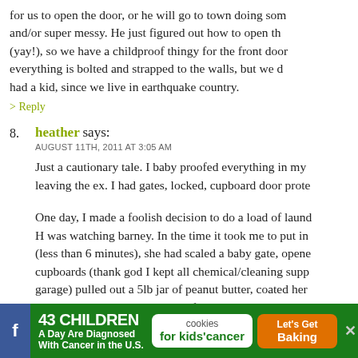for us to open the door, or he will go to town doing som and/or super messy. He just figured out how to open th (yay!), so we have a childproof thingy for the front door everything is bolted and strapped to the walls, but we d had a kid, since we live in earthquake country.
> Reply
8. heather says: AUGUST 11TH, 2011 AT 3:05 AM
Just a cautionary tale. I baby proofed everything in my leaving the ex. I had gates, locked, cupboard door prote
One day, I made a foolish decision to do a load of laund H was watching barney. In the time it took me to put in (less than 6 minutes), she had scaled a baby gate, opene cupboards (thank god I kept all chemical/cleaning supp garage) pulled out a 5lb jar of peanut butter, coated her toddler sister along with most of the livingroom.
You can babyproof all you want. Just don't lull yourself
[Figure (advertisement): Green advertisement bar: '43 CHILDREN A Day Are Diagnosed With Cancer in the U.S.' with cookies for kids' cancer logo and 'Let's Get Baking' orange button]